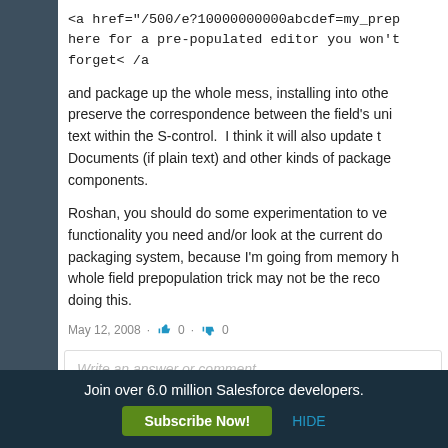<a href="/500/e?10000000000abcdef=my_prep here for a pre-populated editor you won't forget< /a>
and package up the whole mess, installing into othe preserve the correspondence between the field's uni text within the S-control.  I think it will also update t Documents (if plain text) and other kinds of package components.
Roshan, you should do some experimentation to ve functionality you need and/or look at the current do packaging system, because I'm going from memory h whole field prepopulation trick may not be the reco doing this.
May 12, 2008 · 👍 0 · 👎 0
Write an answer or comment...
Join over 6.0 million Salesforce developers.
Subscribe Now!
HIDE